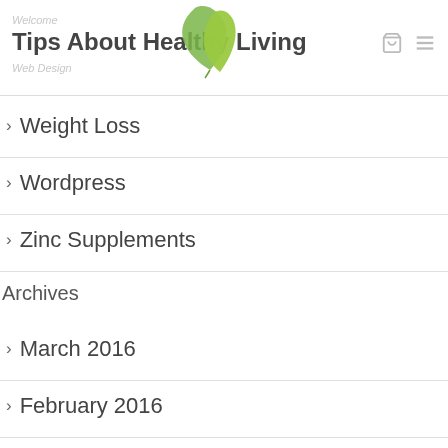Welcome Tips About Healthy Living Web Design
Weight Loss
Wordpress
Zinc Supplements
Archives
March 2016
February 2016